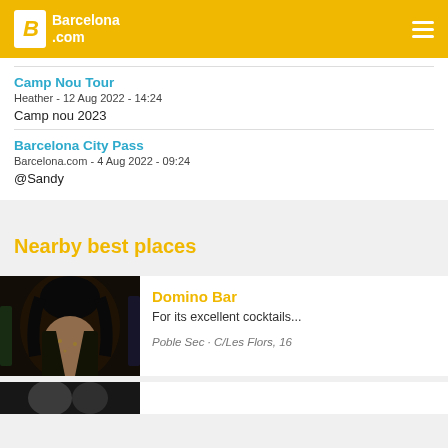Barcelona.com
Camp Nou Tour
Heather - 12 Aug 2022 - 14:24
Camp nou 2023
Barcelona City Pass
Barcelona.com - 4 Aug 2022 - 09:24
@Sandy
Nearby best places
Domino Bar
For its excellent cocktails...
Poble Sec - C/Les Flors, 16
[Figure (photo): Photo of a person at Domino Bar]
[Figure (photo): Partial photo at bottom of page]